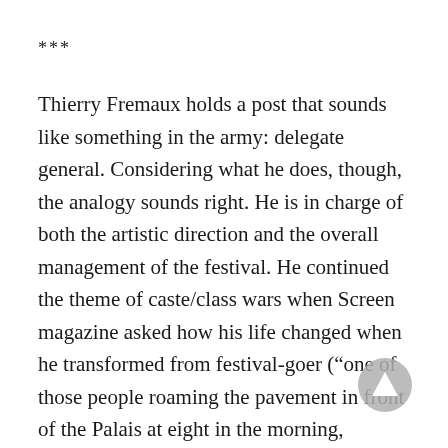***
Thierry Fremaux holds a post that sounds like something in the army: delegate general. Considering what he does, though, the analogy sounds right. He is in charge of both the artistic direction and the overall management of the festival. He continued the theme of caste/class wars when Screen magazine asked how his life changed when he transformed from festival-goer (“one of those people roaming the pavement in front of the Palais at eight in the morning, demanding a place”) to festival team member. He simply said “I was a beggar and I became a prince.”